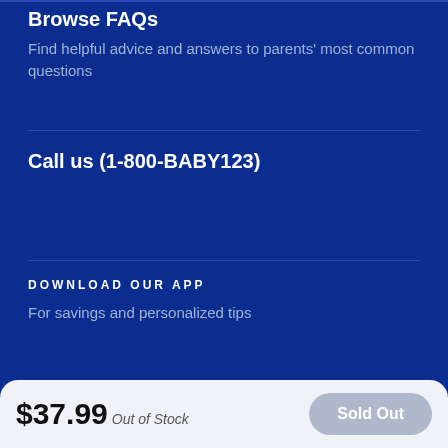Browse FAQs
Find helpful advice and answers to parents' most common questions
Call us (1-800-BABY123)
DOWNLOAD OUR APP
For savings and personalized tips
$37.99 Out of Stock
Sold Out